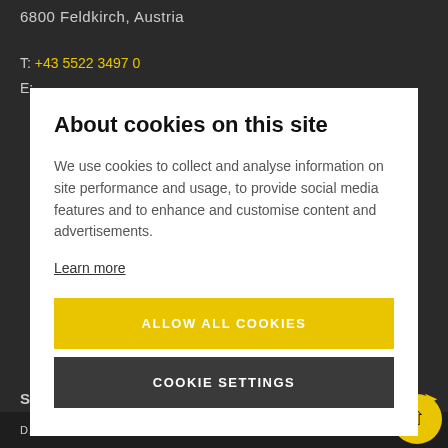6800 Feldkirch, Austria
T: +43 5522 3497 0
E:
About cookies on this site
We use cookies to collect and analyse information on site performance and usage, to provide social media features and to enhance and customise content and advertisements.
Learn more
ALLOW ALL COOKIES
COOKIE SETTINGS
S
S
DATA PROTECTION   IMPRINT